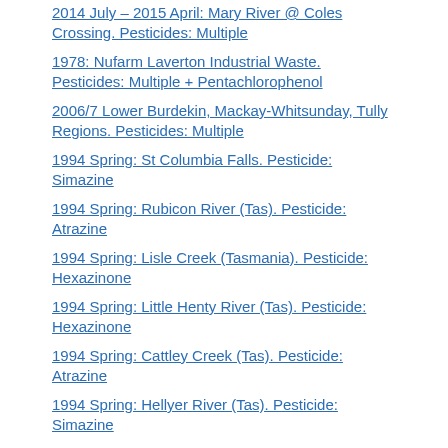2014 July – 2015 April: Mary River @ Coles Crossing. Pesticides: Multiple
1978: Nufarm Laverton Industrial Waste. Pesticides: Multiple + Pentachlorophenol
2006/7 Lower Burdekin, Mackay-Whitsunday, Tully Regions. Pesticides: Multiple
1994 Spring: St Columbia Falls. Pesticide: Simazine
1994 Spring: Rubicon River (Tas). Pesticide: Atrazine
1994 Spring: Lisle Creek (Tasmania). Pesticide: Hexazinone
1994 Spring: Little Henty River (Tas). Pesticide: Hexazinone
1994 Spring: Cattley Creek (Tas). Pesticide: Atrazine
1994 Spring: Hellyer River (Tas). Pesticide: Simazine
2011-2013: Herbert River Queensland. Pesticides: Multiple
2012-13: Boundary Creek/Herbert River Qld. Pesticides: Hexazinone, Diuron
1994-5: Great Forester River (Tas). Pesticide: Simazine
1994: Great Forester River (Tasmania). Pesticide: Simazine
May 2016, Darebin Creek (Vic) Eel Deaths. Pesticide: